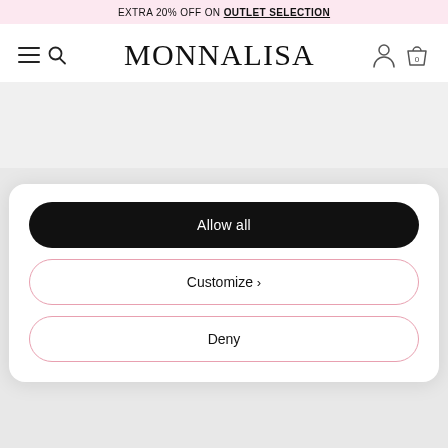EXTRA 20% OFF ON OUTLET SELECTION
[Figure (screenshot): Monnalisa website navigation bar with hamburger menu, search icon, MONNALISA logo, user icon and cart icon (0)]
Allow all
Customize >
Deny